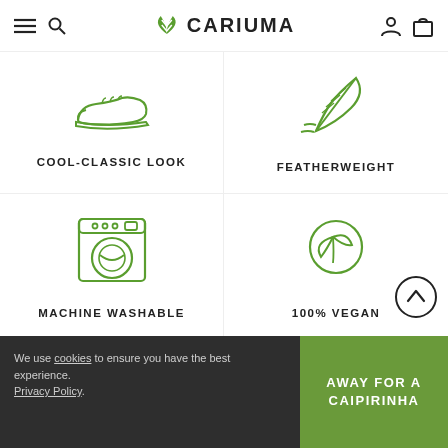CARIUMA
[Figure (illustration): Green outline icon of a shoe (sneaker/slip-on), representing Cool-Classic Look feature]
COOL-CLASSIC LOOK
[Figure (illustration): Green outline icon of a feather, representing Featherweight feature]
FEATHERWEIGHT
[Figure (illustration): Green outline icon of a washing machine, representing Machine Washable feature]
MACHINE WASHABLE
[Figure (illustration): Green outline icon of two leaves in a circle, representing 100% Vegan feature]
100% VEGAN
We use cookies to ensure you have the best experience. Privacy Policy.
AWAY FOR A CAIPIRINHA